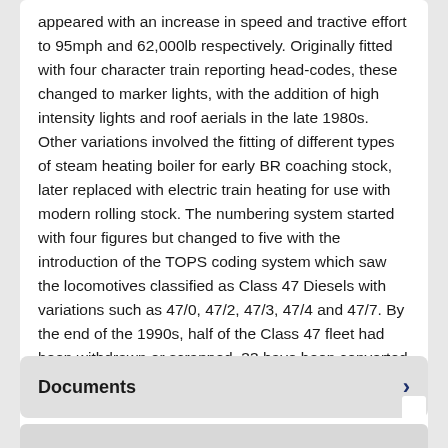appeared with an increase in speed and tractive effort to 95mph and 62,000lb respectively. Originally fitted with four character train reporting head-codes, these changed to marker lights, with the addition of high intensity lights and roof aerials in the late 1980s. Other variations involved the fitting of different types of steam heating boiler for early BR coaching stock, later replaced with electric train heating for use with modern rolling stock. The numbering system started with four figures but changed to five with the introduction of the TOPS coding system which saw the locomotives classified as Class 47 Diesels with variations such as 47/0, 47/2, 47/3, 47/4 and 47/7. By the end of the 1990s, half of the Class 47 fleet had been withdrawn or scrapped, 33 have been converted into Class 57 locomotives and several have been preserved, including the original No. D1500, now numbered 47401.
Documents